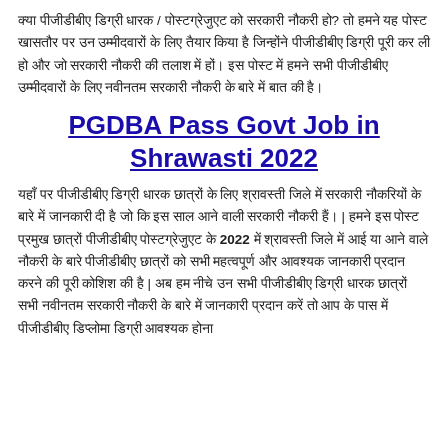क्या पीजीडीबीए डिग्री धारक / पोस्टग्रेजुएट को सरकारी नौकरी हो? तो हमने यह पोस्ट खासतौर पर उन उम्मीदवारों के लिए तैयार किया है जिन्होंने पीजीडीबीए डिग्री पूरी कर ली हो और जो सरकारी नौकरी की तलाश में हों। इस पोस्ट में हमने सभी पीजीडीबीए उम्मीदवारों के लिए नवीनतम सरकारी नौकरी के बारे में बात की है।
PGDBA Pass Govt Job in Shrawasti 2022
यहाँ पर पीजीडीबीए डिग्री धारक छात्रों के लिए श्रावस्ती जिले में सरकारी नौकरियों के बारे में जानकारी दी है जो कि इस साल आने वाली सरकारी नौकरी हैं। | हमने इस पोस्ट प्रमुख छात्रों पीजीडीबीए पोस्टग्रेजुएट के 2022 में श्रावस्ती जिले में आई या आने वाले नौकरी के बारे पीजीडीबीए छात्रों को सभी महत्वपूर्ण और आवश्यक जानकारी प्रदान करने की पूरी कोशिश की है | अब हम नीचे उन सभी पीजीडीबीए डिग्री धारक छात्रों सभी नवीनतम सरकारी नौकरी के बारे में जानकारी प्रदान करें तो आप के पास में पीजीडीबीए डिप्लोमा डिग्री आवश्यक होना